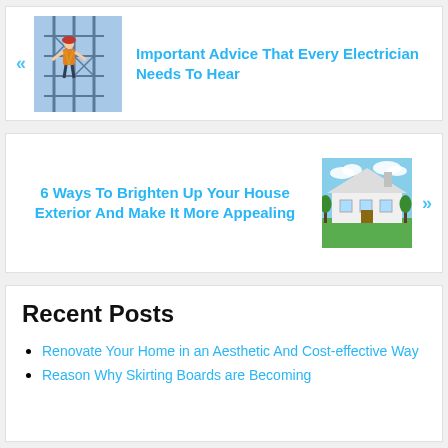[Figure (photo): Electrician worker on scaffolding/electrical tower wearing red hard hat and orange safety harness]
Important Advice That Every Electrician Needs To Hear
6 Ways To Brighten Up Your House Exterior And Make It More Appealing
[Figure (photo): Large white modern house with green lawn and blue sky]
Recent Posts
Renovate Your Home in an Aesthetic And Cost-effective Way
Reason Why Skirting Boards are Becoming